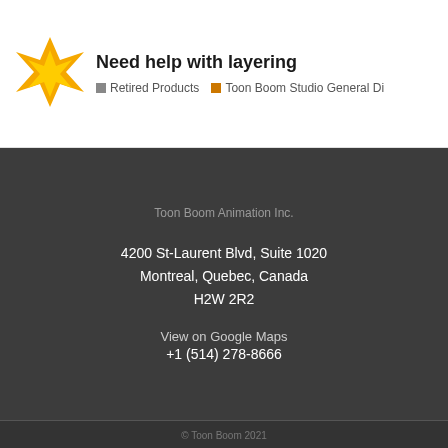Need help with layering
Retired Products  Toon Boom Studio General Di
Toon Boom Animation Inc.
4200 St-Laurent Blvd, Suite 1020
Montreal, Quebec, Canada
H2W 2R2
View on Google Maps
+1 (514) 278-8666
© Toon Boom 2021
Privacy Policy
Terms and conditions
Report Piracy